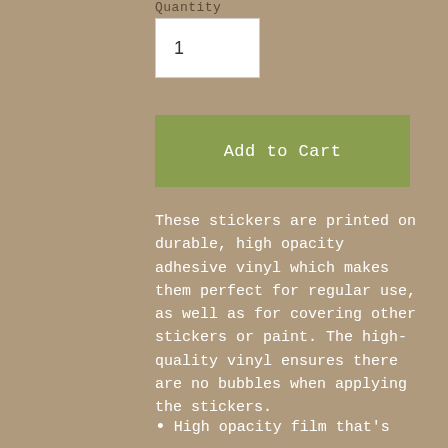Quantity
1
Add to Cart
These stickers are printed on durable, high opacity adhesive vinyl which makes them perfect for regular use, as well as for covering other stickers or paint. The high-quality vinyl ensures there are no bubbles when applying the stickers.
High opacity film that's